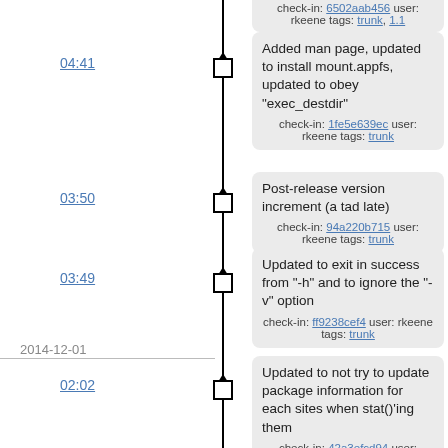check-in: 6502aab456 user: rkeene tags: trunk, 1.1 (partial, top)
04:41
Added man page, updated to install mount.appfs, updated to obey "exec_destdir"
check-in: 1fe5e639ec user: rkeene tags: trunk
03:50
Post-release version increment (a tad late)
check-in: 94a220b715 user: rkeene tags: trunk
03:49
Updated to exit in success from "-h" and to ignore the "-v" option
check-in: ff9238cef4 user: rkeene tags: trunk
2014-12-01
02:02
Updated to not try to update package information for each sites when stat()'ing them
check-in: 42a3efcd94 user: rkeene tags: trunk
2014-11-20
21:00
Added start of ffmpeg build recipe
check-in: 651b8c103c user: rkeene tags: packages